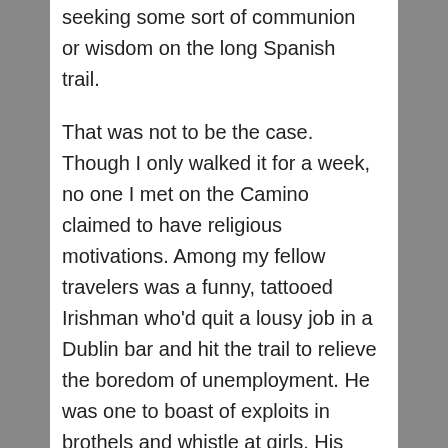seeking some sort of communion or wisdom on the long Spanish trail.
That was not to be the case. Though I only walked it for a week, no one I met on the Camino claimed to have religious motivations. Among my fellow travelers was a funny, tattooed Irishman who'd quit a lousy job in a Dublin bar and hit the trail to relieve the boredom of unemployment. He was one to boast of exploits in brothels and whistle at girls. His Camino buddy, a young German, was hiking to kick a drug habit. Escape seemed to be a theme. You hiked to get